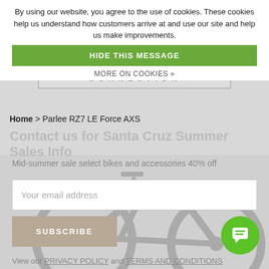By using our website, you agree to the use of cookies. These cookies help us understand how customers arrive at and use our site and help us make improvements.
HIDE THIS MESSAGE
MORE ON COOKIES »
[Figure (logo): Piermont Bicycle Connection logo]
Home > Parlee RZ7 LE Force AXS
Contact us for Santa Cruz Summer Sales Info
Mid-summer sale select bikes and accessories 40% off
Your email address
SUBSCRIBE
View our PRIVACY POLICY and TERMS AND CONDITIONS
[Figure (photo): Gray road bicycle (Parlee RZ7 LE Force AXS) shown from the side]